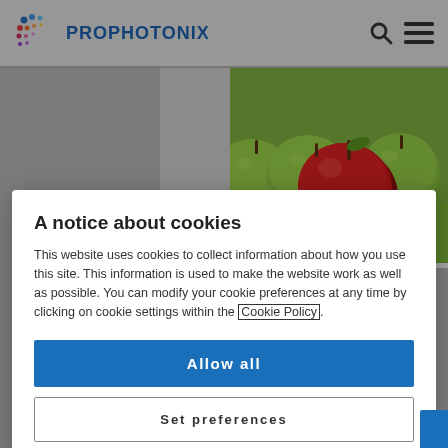PRO PHOTONIX
[Figure (photo): A pile of green apples with one red apple in the center, standing out from the group.]
A notice about cookies
This website uses cookies to collect information about how you use this site. This information is used to make the website work as well as possible. You can modify your cookie preferences at any time by clicking on cookie settings within the Cookie Policy.
Allow all
Set preferences